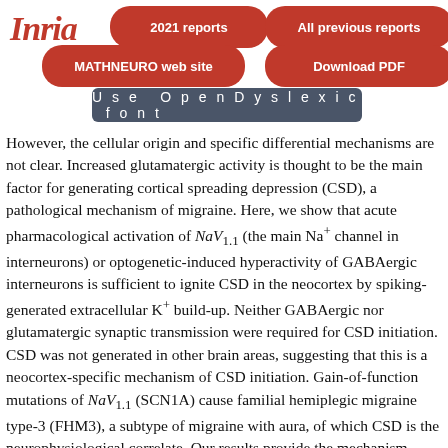[Figure (logo): Inria logo in red italic script]
2021 reports | All previous reports | MATHNEURO web site | Download PDF
Use OpenDyslexic font
However, the cellular origin and specific differential mechanisms are not clear. Increased glutamatergic activity is thought to be the main factor for generating cortical spreading depression (CSD), a pathological mechanism of migraine. Here, we show that acute pharmacological activation of NaV1.1 (the main Na+ channel in interneurons) or optogenetic-induced hyperactivity of GABAergic interneurons is sufficient to ignite CSD in the neocortex by spiking-generated extracellular K+ build-up. Neither GABAergic nor glutamatergic synaptic transmission were required for CSD initiation. CSD was not generated in other brain areas, suggesting that this is a neocortex-specific mechanism of CSD initiation. Gain-of-function mutations of NaV1.1 (SCN1A) cause familial hemiplegic migraine type-3 (FHM3), a subtype of migraine with aura, of which CSD is the neurophysiological correlate. Our results provide the mechanism linking NaV1.1 gain of function to CSD generation in FHM3. They reveal the key role of hyperactivity of GABAergic interneurons